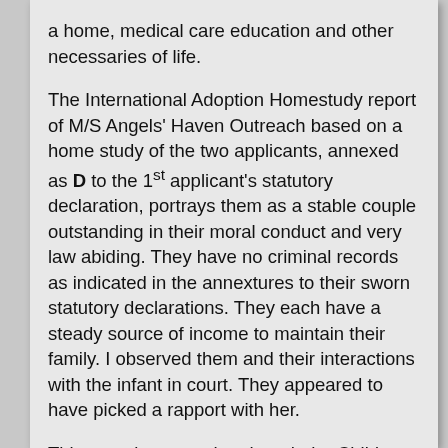a home, medical care education and other necessaries of life.
The International Adoption Homestudy report of M/S Angels' Haven Outreach based on a home study of the two applicants, annexed as D to the 1st applicant's statutory declaration, portrays them as a stable couple outstanding in their moral conduct and very law abiding. They have no criminal records as indicated in the annextures to their sworn statutory declarations. They each have a steady source of income to maintain their family. I observed them and their interactions with the infant in court. They appeared to have picked a rapport with her.
This court is aware that though the Children Act does not specifically provide for guardianship orders, the constitutional and other statutory